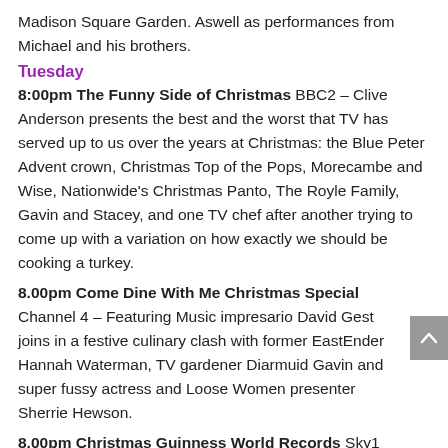Madison Square Garden. Aswell as performances from Michael and his brothers.
Tuesday
8:00pm The Funny Side of Christmas BBC2 – Clive Anderson presents the best and the worst that TV has served up to us over the years at Christmas: the Blue Peter Advent crown, Christmas Top of the Pops, Morecambe and Wise, Nationwide's Christmas Panto, The Royle Family, Gavin and Stacey, and one TV chef after another trying to come up with a variation on how exactly we should be cooking a turkey.
8.00pm Come Dine With Me Christmas Special Channel 4 – Featuring Music impresario David Gest joins in a festive culinary clash with former EastEnder Hannah Waterman, TV gardener Diarmuid Gavin and super fussy actress and Loose Women presenter Sherrie Hewson.
8.00pm Christmas Guinness World Records Sky1